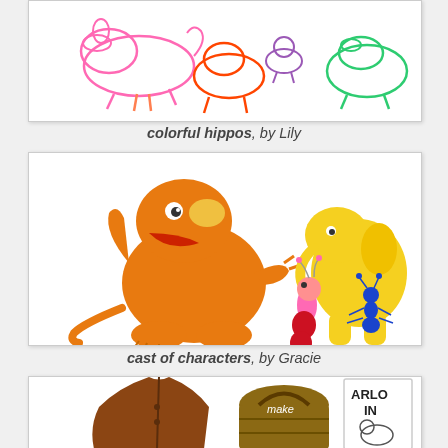[Figure (illustration): Child drawing of colorful hippos in pink, orange, purple, and green outline style on white background]
colorful hippos, by Lily
[Figure (illustration): Colorful cartoon characters including a large orange dinosaur-like creature, a yellow elephant, a pink caterpillar, and a blue ant, drawn in a mix of digital and hand-drawn style]
cast of characters, by Gracie
[Figure (illustration): Child drawing showing a jacket, a basket labeled 'make', a sign reading 'ARLO IN', and other figures, partially visible at bottom of page]